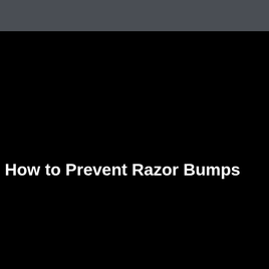[Figure (photo): Dark background image, nearly black, with a dark gray header bar at the top.]
How to Prevent Razor Bumps